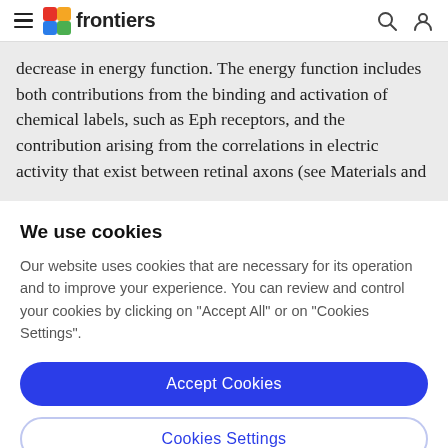frontiers
decrease in energy function. The energy function includes both contributions from the binding and activation of chemical labels, such as Eph receptors, and the contribution arising from the correlations in electric activity that exist between retinal axons (see Materials and
We use cookies
Our website uses cookies that are necessary for its operation and to improve your experience. You can review and control your cookies by clicking on "Accept All" or on "Cookies Settings".
Accept Cookies
Cookies Settings